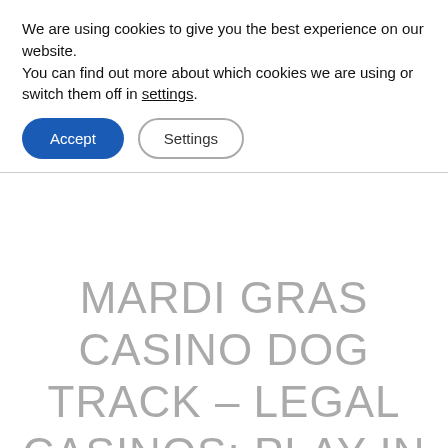We are using cookies to give you the best experience on our website.
You can find out more about which cookies we are using or switch them off in settings.
Accept | Settings
MARDI GRAS CASINO DOG TRACK – LEGAL CASINOS: PLAY IN TOTAL SECURITY